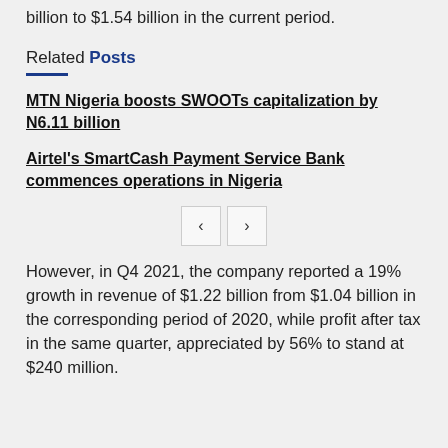billion to $1.54 billion in the current period.
Related Posts
MTN Nigeria boosts SWOOTs capitalization by N6.11 billion
Airtel's SmartCash Payment Service Bank commences operations in Nigeria
However, in Q4 2021, the company reported a 19% growth in revenue of $1.22 billion from $1.04 billion in the corresponding period of 2020, while profit after tax in the same quarter, appreciated by 56% to stand at $240 million.